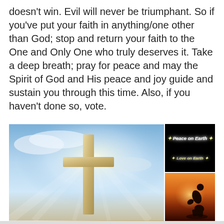doesn't win. Evil will never be triumphant. So if you've put your faith in anything/one other than God; stop and return your faith to the One and Only One who truly deserves it. Take a deep breath; pray for peace and may the Spirit of God and His peace and joy guide and sustain you through this time. Also, if you haven't done so, vote.
[Figure (photo): Three photos arranged in a grid: left large photo of a wooden cross against a blue sky with dramatic light rays; top right dark image with 'Peace on Earth' text glowing with stars; bottom right silhouette of a person kneeling in prayer against an orange sunset sky.]